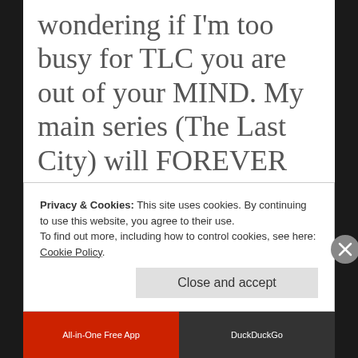wondering if I'm too busy for TLC you are out of your MIND. My main series (The Last City) will FOREVER be my MAIN series. Period.
Privacy & Cookies: This site uses cookies. By continuing to use this website, you agree to their use.
To find out more, including how to control cookies, see here: Cookie Policy.